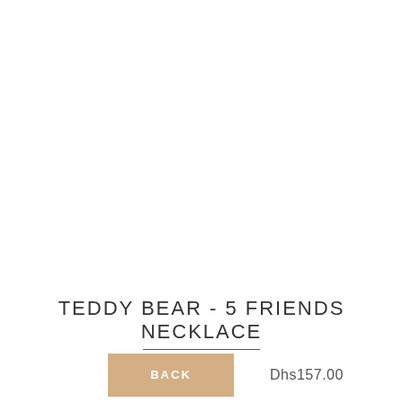[Figure (photo): Product photo area for Teddy Bear - 5 Friends Necklace (blank/white area)]
TEDDY BEAR - 5 FRIENDS NECKLACE
BACK
Dhs157.00